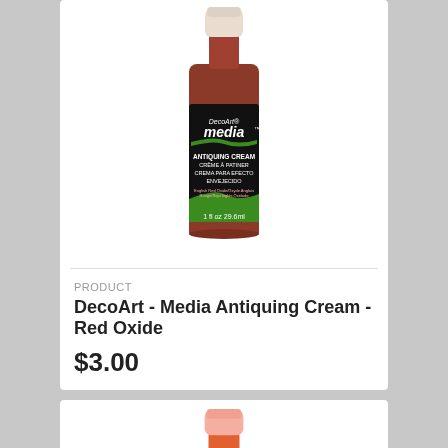[Figure (photo): DecoArt Media Antiquing Cream - Red Oxide product bottle, small 1 fl oz / 29.6ml bottle with dark label, white cap, green accent on label bottom]
PRODUCT
DecoArt - Media Antiquing Cream - Red Oxide
$3.00
[Figure (photo): DecoArt Media Fluid Acrylics product bottle, partially visible, orange/red color with pink cap]